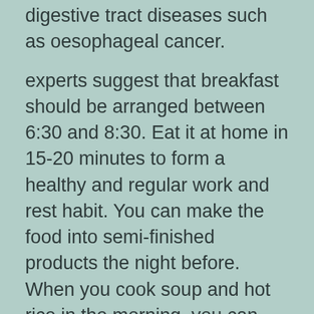digestive tract diseases such as oesophageal cancer.
experts suggest that breakfast should be arranged between 6:30 and 8:30. Eat it at home in 15-20 minutes to form a healthy and regular work and rest habit. You can make the food into semi-finished products the night before. When you cook soup and hot rice in the morning, you can wash and tidy up every minute to make time for breakfast.
what kind of breakfast is good for different people